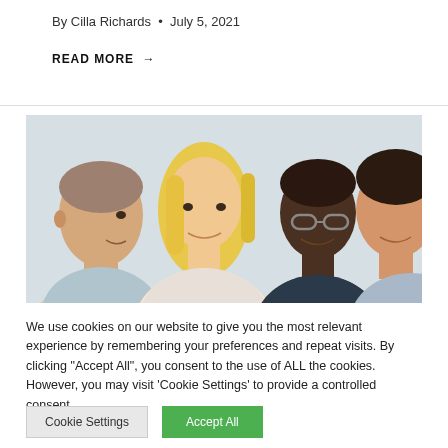By Cilla Richards · July 5, 2021
READ MORE →
[Figure (photo): Group of four young adults (two men and two women, diverse) smiling and looking down at something together, in a bright indoor setting]
We use cookies on our website to give you the most relevant experience by remembering your preferences and repeat visits. By clicking "Accept All", you consent to the use of ALL the cookies. However, you may visit 'Cookie Settings' to provide a controlled consent.
Cookie Settings
Accept All